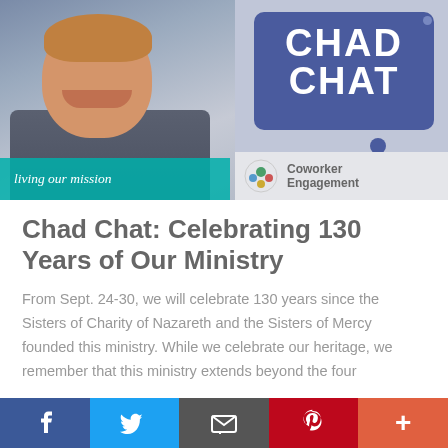[Figure (photo): Banner image showing a man in a suit on the left side, with 'CHAD CHAT' text in a speech bubble on a blue/purple background on the right, teal bar with 'living our mission' text at bottom left, and 'Coworker Engagement' logo at bottom right]
Chad Chat: Celebrating 130 Years of Our Ministry
From Sept. 24-30, we will celebrate 130 years since the Sisters of Charity of Nazareth and the Sisters of Mercy founded this ministry. While we celebrate our heritage, we remember that this ministry extends beyond the four
f  [Twitter bird]  [email]  p  +